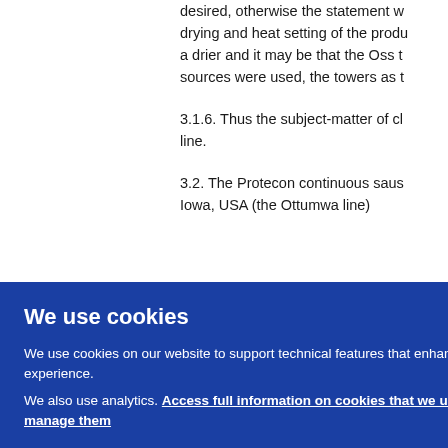desired, otherwise the statement w... drying and heat setting of the produ... a drier and it may be that the Oss t... sources were used, the towers as t...
3.1.6. Thus the subject-matter of cl... line.
3.2. The Protecon continuous saus... Iowa, USA (the Ottumwa line)
We use cookies
We use cookies on our website to support technical features that enhance your user experience. We also use analytics. Access full information on cookies that we use and how to manage them